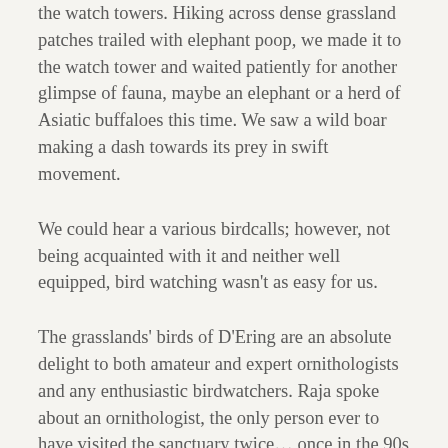the watch towers. Hiking across dense grassland patches trailed with elephant poop, we made it to the watch tower and waited patiently for another glimpse of fauna, maybe an elephant or a herd of Asiatic buffaloes this time. We saw a wild boar making a dash towards its prey in swift movement.
We could hear a various birdcalls; however, not being acquainted with it and neither well equipped, bird watching wasn't as easy for us.
The grasslands' birds of D'Ering are an absolute delight to both amateur and expert ornithologists and any enthusiastic birdwatchers. Raja spoke about an ornithologist, the only person ever to have visited the sanctuary twice… once in the 90s and then again in the early 2000s. No matter how much he tried, he never remembered this certain ornithologist's name.